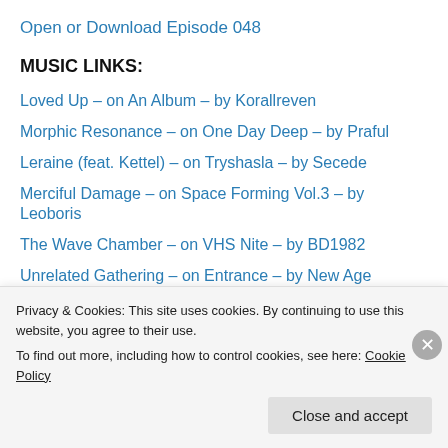Open or Download Episode 048
MUSIC LINKS:
Loved Up – on An Album – by Korallreven
Morphic Resonance – on One Day Deep – by Praful
Leraine (feat. Kettel) – on Tryshasla – by Secede
Merciful Damage – on Space Forming Vol.3 – by Leoboris
The Wave Chamber – on VHS Nite – by BD1982
Unrelated Gathering – on Entrance – by New Age Hippies
CERN – on Dream Filament – by Prokaion
Mystery – on Space Forming Vol.3 – by Stanislav Egorov
Privacy & Cookies: This site uses cookies. By continuing to use this website, you agree to their use.
To find out more, including how to control cookies, see here: Cookie Policy
Close and accept